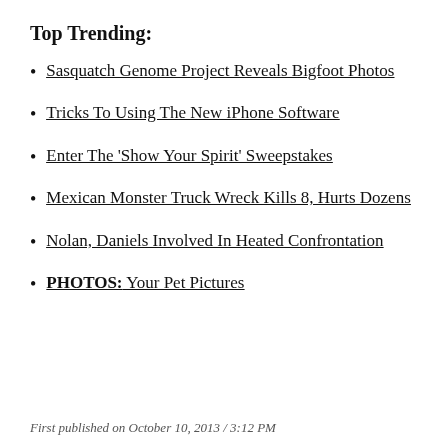Top Trending:
Sasquatch Genome Project Reveals Bigfoot Photos
Tricks To Using The New iPhone Software
Enter The 'Show Your Spirit' Sweepstakes
Mexican Monster Truck Wreck Kills 8, Hurts Dozens
Nolan, Daniels Involved In Heated Confrontation
PHOTOS: Your Pet Pictures
First published on October 10, 2013 / 3:12 PM